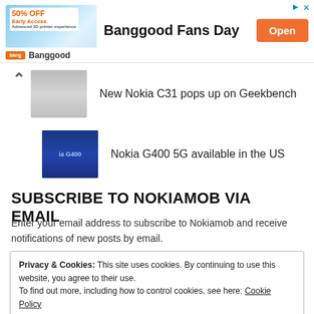[Figure (screenshot): Banggood advertisement banner with product image showing 50% OFF Early Access sale, bold title 'Banggood Fans Day', orange 'Open' button, and Banggood logo bar below.]
New Nokia C31 pops up on Geekbench
Nokia G400 5G available in the US
SUBSCRIBE TO NOKIAMOB VIA EMAIL
Enter your email address to subscribe to Nokiamob and receive notifications of new posts by email.
Privacy & Cookies: This site uses cookies. By continuing to use this website, you agree to their use.
To find out more, including how to control cookies, see here: Cookie Policy
Close and accept